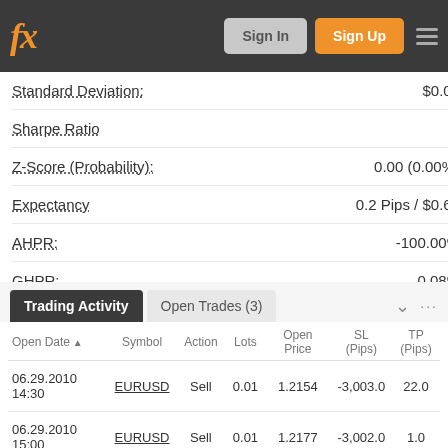fx — Sign In | Sign Up
Standard Deviation: $0.00
Sharpe Ratio 0
Z-Score (Probability): 0.00 (0.00%)
Expectancy 0.2 Pips / $0.63
AHPR: -100.00%
GHPR: 0.08%
Trading Activity — Open Trades (3)
| Open Date▲ | Symbol | Action | Lots | Open Price | SL (Pips) | TP (Pips) |
| --- | --- | --- | --- | --- | --- | --- |
| 06.29.2010 14:30 | EURUSD | Sell | 0.01 | 1.2154 | -3,003.0 | 22.0 |
| 06.29.2010 15:00 | EURUSD | Sell | 0.01 | 1.2177 | -3,002.0 | 1.0 |
| 06.29.2010 16:30 | EURUSD | Sell | 0.02 | 1.2196 | -3,002.0 | 20.0 |